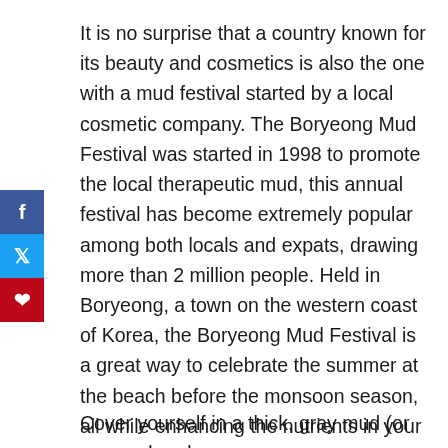It is no surprise that a country known for its beauty and cosmetics is also the one with a mud festival started by a local cosmetic company. The Boryeong Mud Festival was started in 1998 to promote the local therapeutic mud, this annual festival has become extremely popular among both locals and expats, drawing more than 2 million people. Held in Boryeong, a town on the western coast of Korea, the Boryeong Mud Festival is a great way to celebrate the summer at the beach before the monsoon season, all while enhancing the nutrients in your skin.
Cover yourself in a thick, gray mud (or even colored